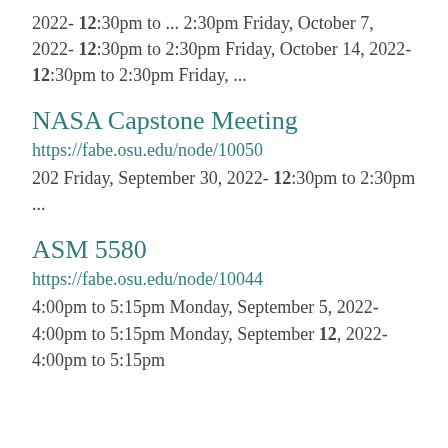2022- 12:30pm to ... 2:30pm Friday, October 7, 2022- 12:30pm to 2:30pm Friday, October 14, 2022- 12:30pm to 2:30pm Friday, ...
NASA Capstone Meeting
https://fabe.osu.edu/node/10050
202 Friday, September 30, 2022- 12:30pm to 2:30pm ...
ASM 5580
https://fabe.osu.edu/node/10044
4:00pm to 5:15pm Monday, September 5, 2022- 4:00pm to 5:15pm Monday, September 12, 2022- 4:00pm to 5:15pm